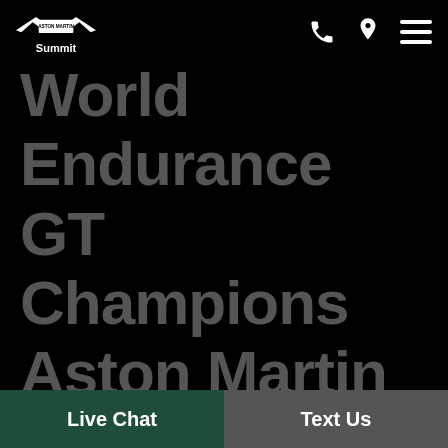[Figure (logo): Aston Martin winged logo with 'Summit' label below]
World Endurance GT Champions Aston Martin Switch Focus To Customer Racing For 2021
Live Chat | Text Us